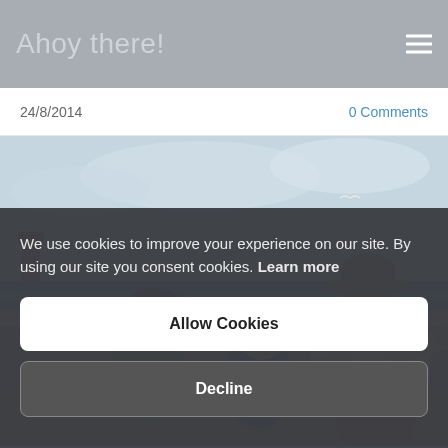Ahoy there!
24/8/2014
0 Comments
[Figure (photo): Classical oil painting showing a man wearing a wide-brimmed hat pointing to the right, with two children seated beside him near a waterfront stone wall. Sea and sky visible in background with a bird in flight.]
We use cookies to improve your experience on our site. By using our site you consent cookies. Learn more
Allow Cookies
Decline